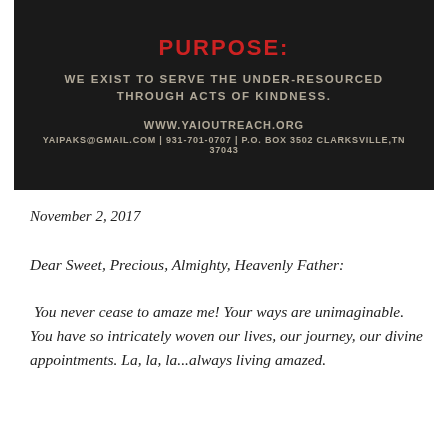[Figure (other): Dark banner with organization purpose statement, website, and contact information on black background]
November 2, 2017
Dear Sweet, Precious, Almighty, Heavenly Father:
You never cease to amaze me! Your ways are unimaginable. You have so intricately woven our lives, our journey, our divine appointments. La, la, la...always living amazed.